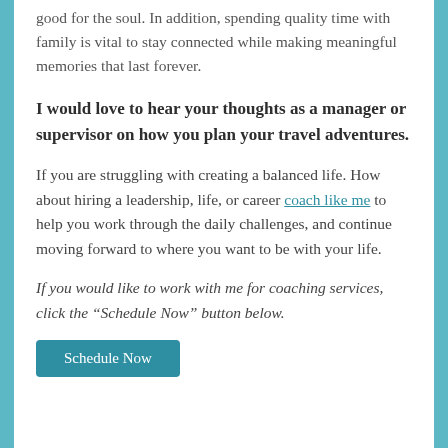good for the soul. In addition, spending quality time with family is vital to stay connected while making meaningful memories that last forever.
I would love to hear your thoughts as a manager or supervisor on how you plan your travel adventures.
If you are struggling with creating a balanced life. How about hiring a leadership, life, or career coach like me to help you work through the daily challenges, and continue moving forward to where you want to be with your life.
If you would like to work with me for coaching services, click the “Schedule Now” button below.